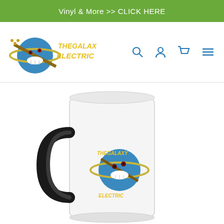Vinyl & More >> CLICK HERE
[Figure (logo): The Galaxy Electric store logo — a blue planet with a guitar neck and the text 'THE GALAXY ELECTRIC' in yellow retro lettering]
[Figure (photo): A white ceramic mug with a black handle featuring The Galaxy Electric logo artwork — a blue planet character with teeth and guitar imagery]